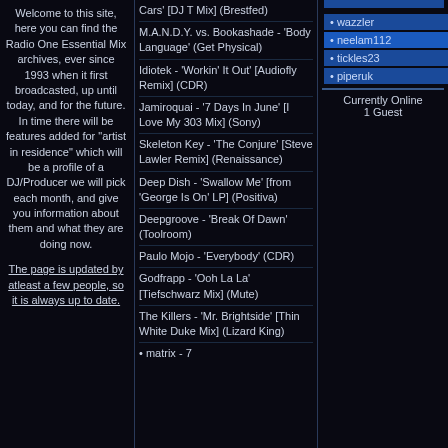Welcome to this site, here you can find the Radio One Essential Mix archives, ever since 1993 when it first broadcasted, up until today, and for the future. In time there will be features added for "artist in residence" which will be a profile of a DJ/Producer we will pick each month, and give you information about them and what they are doing now.

The page is updated by atleast a few people, so it is always up to date.
Cars' [DJ T Mix] (Brestfed)
M.A.N.D.Y. vs. Bookashade - 'Body Language' (Get Physical)
Idiotek - 'Workin' It Out' [Audiofly Remix] (CDR)
Jamiroquai - '7 Days In June' [I Love My 303 Mix] (Sony)
Skeleton Key - 'The Conjure' [Steve Lawler Remix] (Renaissance)
Deep Dish - 'Swallow Me' [from 'George Is On' LP] (Positiva)
Deepgroove - 'Break Of Dawn' (Toolroom)
Paulo Mojo - 'Everybody' (CDR)
Godfrapp - 'Ooh La La' [Tiefschwarz Mix] (Mute)
The Killers - 'Mr. Brightside' [Thin White Duke Mix] (Lizard King)
• matrix  - 7
• wazzler
• neelam112
• tickles23
• piperuk
Currently Online
1 Guest